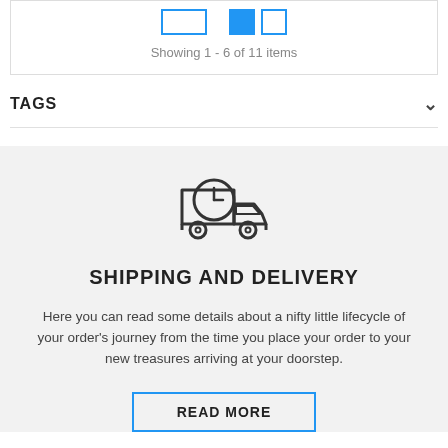Showing 1 - 6 of 11 items
TAGS
[Figure (illustration): Delivery truck icon with a clock on the cargo section, outline style in dark gray]
SHIPPING AND DELIVERY
Here you can read some details about a nifty little lifecycle of your order's journey from the time you place your order to your new treasures arriving at your doorstep.
READ MORE